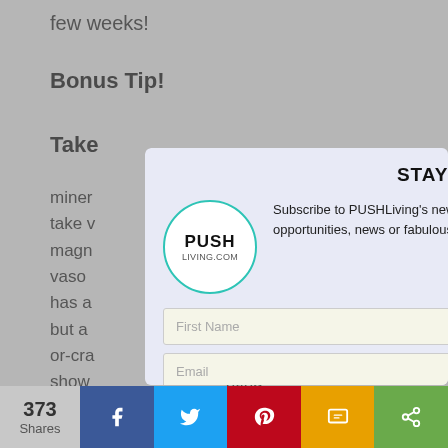few weeks!
Bonus Tip!
Take
miner...ould take v...ed magn... vaso...t only has a...re, but a...tion or-cra...has show...nting cardia...ue), which...y, in stress situations. Interesting in this regard, is
[Figure (screenshot): Newsletter subscription modal overlay with PUSHLiving logo, First Name and Email input fields, and SUBSCRIBE button on a light purple/lavender background]
373 Shares — Facebook, Twitter, Pinterest, SMS, Share buttons